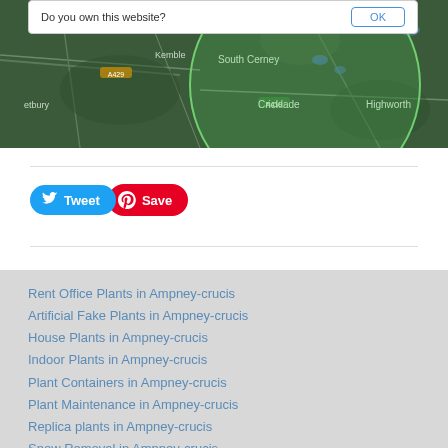[Figure (map): Aerial/satellite map showing area around South Cerney, Kemble, Cricklade, Highworth with a green circle overlay indicating a geographic radius]
[Figure (screenshot): Dialog box saying 'Do you own this website?' with an OK button]
[Figure (screenshot): Tweet button (blue) and Save/Pinterest button (red)]
Rent Office Plants in Ampney-crucis
Artificial Fake Plants in Ampney-crucis
House Plants in Ampney-crucis
Indoor Plants in Ampney-crucis
Plant Containers in Ampney-crucis
Plant Maintenance in Ampney-crucis
Replica plants in Ampney-crucis
Snow Removal in Ampney-crucis